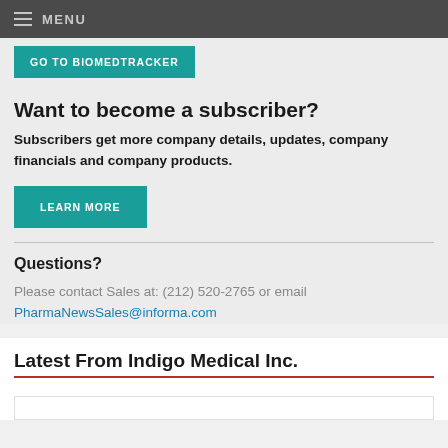MENU
GO TO BIOMEDTRACKER
Want to become a subscriber?
Subscribers get more company details, updates, company financials and company products.
LEARN MORE
Questions?
Please contact Sales at: (212) 520-2765 or email PharmaNewsSales@informa.com
Latest From Indigo Medical Inc.